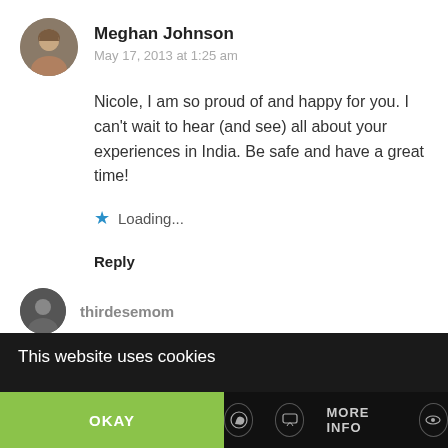[Figure (photo): Circular avatar photo of Meghan Johnson, a woman with light skin and brown hair]
Meghan Johnson
May 17, 2013 at 1:25 am
Nicole, I am so proud of and happy for you. I can’t wait to hear (and see) all about your experiences in India. Be safe and have a great time!
Loading...
Reply
thirdesemom
This website uses cookies
OKAY
MORE INFO